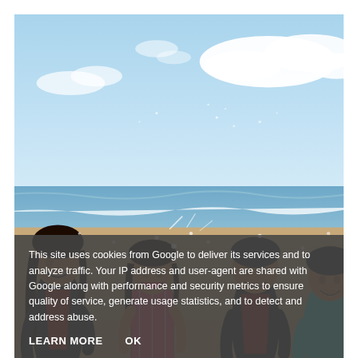[Figure (photo): Children and a woman playing joyfully on a beach, splashing water. Blue sky with clouds in the background, ocean visible. The woman is on the left in a black wetsuit, one girl in a patterned swimsuit in the center-left, a boy in a black-and-red rash guard in the center-right, and another boy in a teal shirt on the far right.]
This site uses cookies from Google to deliver its services and to analyze traffic. Your IP address and user-agent are shared with Google along with performance and security metrics to ensure quality of service, generate usage statistics, and to detect and address abuse.
LEARN MORE    OK